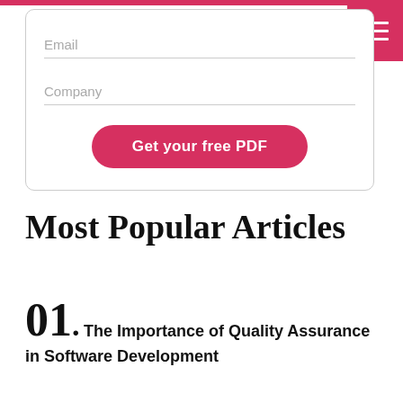[Figure (screenshot): Email and Company form fields with a 'Get your free PDF' button, inside a rounded border box. A pink/red top bar and hamburger menu icon are visible at top right.]
Most Popular Articles
01. The Importance of Quality Assurance in Software Development